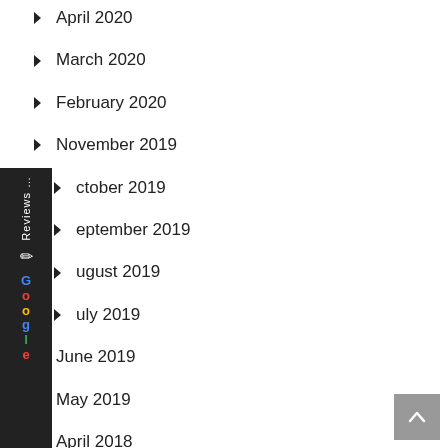April 2020
March 2020
February 2020
November 2019
October 2019
September 2019
August 2019
July 2019
June 2019
May 2019
April 2018